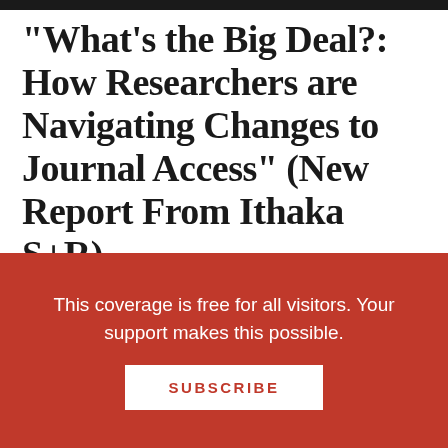“What’s the Big Deal?: How Researchers are Navigating Changes to Journal Access” (New Report From Ithaka S+R)
June 22, 2021 by Gary Price
The report linked below was published today by
This coverage is free for all visitors. Your support makes this possible.
SUBSCRIBE